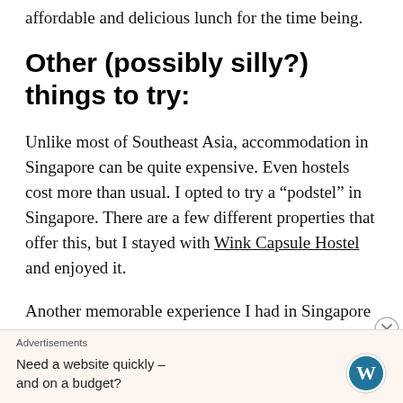affordable and delicious lunch for the time being.
Other (possibly silly?) things to try:
Unlike most of Southeast Asia, accommodation in Singapore can be quite expensive. Even hostels cost more than usual. I opted to try a “podstel” in Singapore. There are a few different properties that offer this, but I stayed with Wink Capsule Hostel and enjoyed it.
Another memorable experience I had in Singapore was visiting a cat cafe. Though not always enforced
Advertisements
Need a website quickly – and on a budget?